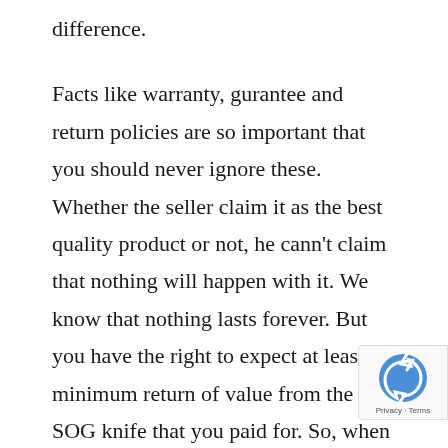difference.
Facts like warranty, gurantee and return policies are so important that you should never ignore these. Whether the seller claim it as the best quality product or not, he cann't claim that nothing will happen with it. We know that nothing lasts forever. But you have the right to expect at least a minimum return of value from the SOG knife that you paid for. So, when you are checking policies, stay cool and always be careful. You will get some hidden and obscure policies sometime which are hard to understand by going through their words only. In that case, don't buy anything until you get the whole thing unequivocally and be clear about every single